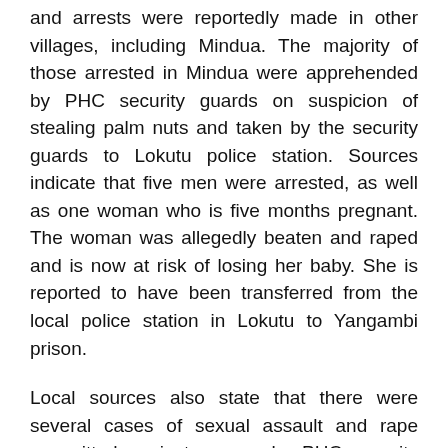and arrests were reportedly made in other villages, including Mindua. The majority of those arrested in Mindua were apprehended by PHC security guards on suspicion of stealing palm nuts and taken by the security guards to Lokutu police station. Sources indicate that five men were arrested, as well as one woman who is five months pregnant. The woman was allegedly beaten and raped and is now at risk of losing her baby. She is reported to have been transferred from the local police station in Lokutu to Yangambi prison.
Local sources also state that there were several cases of sexual assault and rape committed against women by PHC security guards in Mindua, Mwingi, Bolesa and Mosite during this wave of violence.
Killing of Blaise Molenge